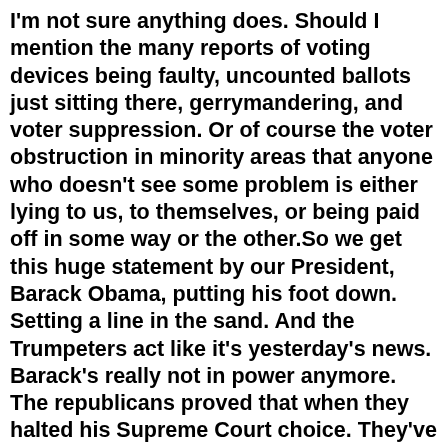I'm not sure anything does. Should I mention the many reports of voting devices being faulty, uncounted ballots just sitting there, gerrymandering, and voter suppression. Or of course the voter obstruction in minority areas that anyone who doesn't see some problem is either lying to us, to themselves, or being paid off in some way or the other.So we get this huge statement by our President, Barack Obama, putting his foot down. Setting a line in the sand. And the Trumpeters act like it's yesterday's news. Barack's really not in power anymore. The republicans proved that when they halted his Supreme Court choice. They've simply been allowing him to hold court. Look at how they all played us. I'm almost beginning to believe this Trump phenomenon was set up by the Koch brothers themselves. Meaning, all their arguments against Donald's personal actions, his